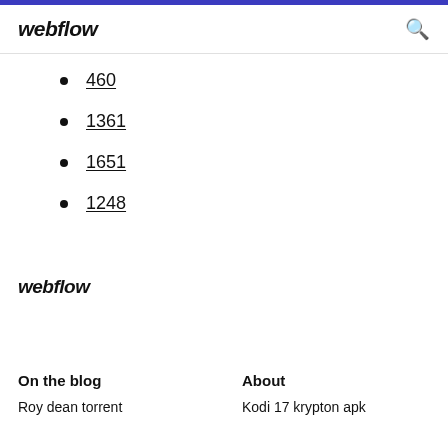webflow
460
1361
1651
1248
webflow
On the blog
About
Roy dean torrent
Kodi 17 krypton apk